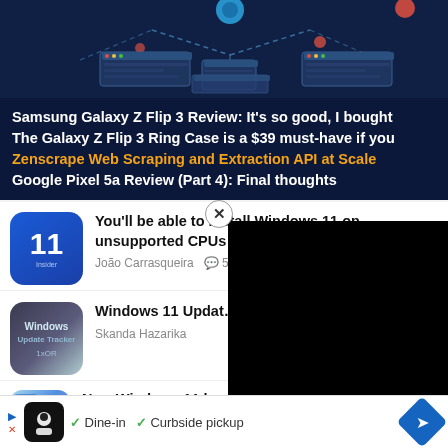[Figure (screenshot): Hero banner with dark blue background showing a network diagram illustration with browser windows connected by dashed lines]
Samsung Galaxy Z Flip 3 Review: It's so good, I bought
The Galaxy Z Flip 3 Ring Case is a $39 must-have if you
Zenscrape Web Scraping and Extraction API at Scale
Google Pixel 5a Review (Part 4): Final thoughts
You'll be able to install Windows 11 on unsupported CPUs using an ISO
João Carrasqueira  💬 5  08-27 1:56
Windows 11 Updat… Install the latest W…
Skanda Hazarika
New Windows 11 b… 365 widget
08-27 1:28
✓ Dine-in  ✓ Curbside pickup